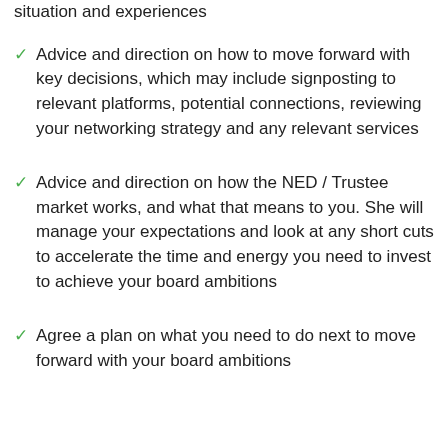situation and experiences
Advice and direction on how to move forward with key decisions, which may include signposting to relevant platforms, potential connections, reviewing your networking strategy and any relevant services
Advice and direction on how the NED / Trustee market works, and what that means to you. She will manage your expectations and look at any short cuts to accelerate the time and energy you need to invest to achieve your board ambitions
Agree a plan on what you need to do next to move forward with your board ambitions